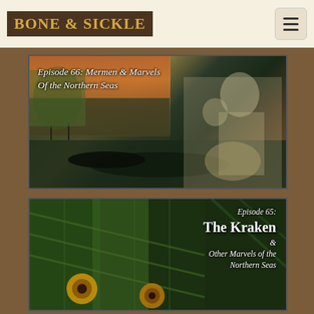[Figure (logo): Bone & Sickle logo — dark brown background with gold stylized text]
[Figure (screenshot): Episode 66: Mermen & Marvels Of the Northern Seas — illustrated artwork showing mermen figures against a dramatic sea and sunset sky background with ships]
[Figure (screenshot): Episode 65: The Kraken & Other Marvels of the Northern Seas — illustrated artwork showing large green tentacles/kraken creature with glowing circular eye-like features on a dark green background]